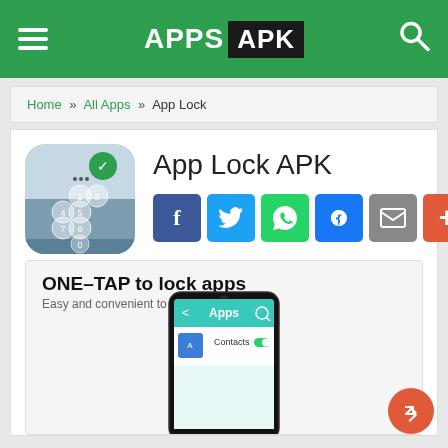APPS APK
Home » All Apps » App Lock
App Lock APK
[Figure (screenshot): App Lock app icon showing a numeric keypad lock screen on a smartphone]
[Figure (screenshot): Screenshot of App Lock app showing ONE-TAP to lock apps interface with phone mockup displaying app list]
ONE-TAP to lock apps
Easy and convenient to use!